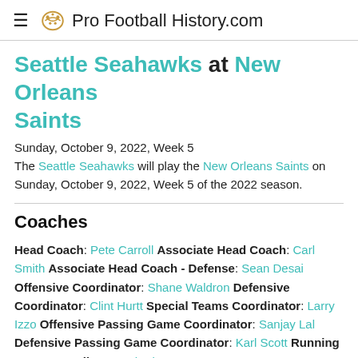Pro Football History.com
Seattle Seahawks at New Orleans Saints
Sunday, October 9, 2022, Week 5
The Seattle Seahawks will play the New Orleans Saints on Sunday, October 9, 2022, Week 5 of the 2022 season.
Coaches
Head Coach: Pete Carroll Associate Head Coach: Carl Smith Associate Head Coach - Defense: Sean Desai Offensive Coordinator: Shane Waldron Defensive Coordinator: Clint Hurtt Special Teams Coordinator: Larry Izzo Offensive Passing Game Coordinator: Sanjay Lal Defensive Passing Game Coordinator: Karl Scott Running Game Coordinator: Chad Morton